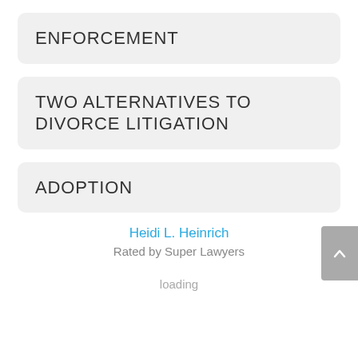ENFORCEMENT
TWO ALTERNATIVES TO DIVORCE LITIGATION
ADOPTION
Heidi L. Heinrich
Rated by Super Lawyers
loading